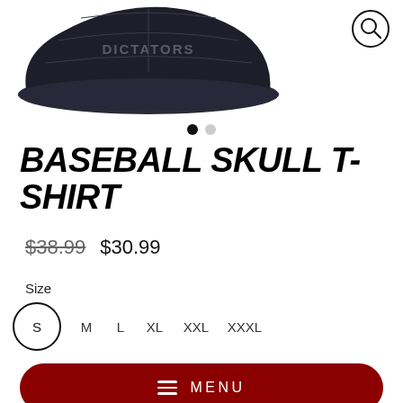[Figure (photo): Dark navy baseball cap with 'DICTATORS' text embroidered, shown from front/top angle on white background. A zoom/magnify icon is in the top-right corner.]
BASEBALL SKULL T-SHIRT
$38.99  $30.99
Size
S  M  L  XL  XXL  XXXL
MENU
Description